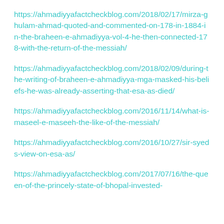https://ahmadiyyafactcheckblog.com/2018/02/17/mirza-ghulam-ahmad-quoted-and-commented-on-178-in-1884-in-the-braheen-e-ahmadiyya-vol-4-he-then-connected-178-with-the-return-of-the-messiah/
https://ahmadiyyafactcheckblog.com/2018/02/09/during-the-writing-of-braheen-e-ahmadiyya-mga-masked-his-beliefs-he-was-already-asserting-that-esa-as-died/
https://ahmadiyyafactcheckblog.com/2016/11/14/what-is-maseel-e-maseeh-the-like-of-the-messiah/
https://ahmadiyyafactcheckblog.com/2016/10/27/sir-syeds-view-on-esa-as/
https://ahmadiyyafactcheckblog.com/2017/07/16/the-queen-of-the-princely-state-of-bhopal-invested-